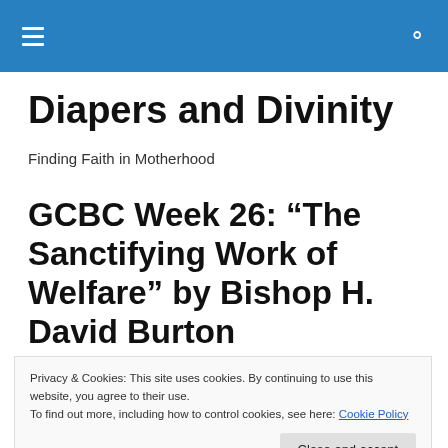Diapers and Divinity — navigation bar with hamburger menu and search icon
Diapers and Divinity
Finding Faith in Motherhood
GCBC Week 26: “The Sanctifying Work of Welfare” by Bishop H. David Burton
Privacy & Cookies: This site uses cookies. By continuing to use this website, you agree to their use.
To find out more, including how to control cookies, see here: Cookie Policy
Close and accept